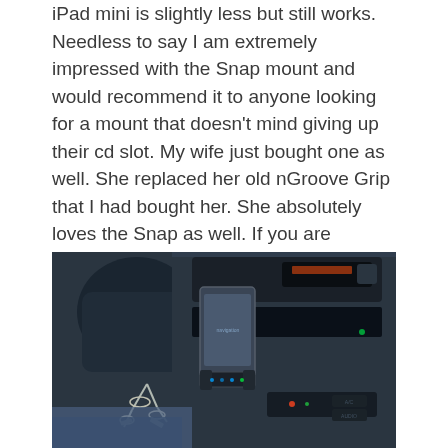iPad mini is slightly less but still works. Needless to say I am extremely impressed with the Snap mount and would recommend it to anyone looking for a mount that doesn't mind giving up their cd slot. My wife just bought one as well. She replaced her old nGroove Grip that I had bought her. She absolutely loves the Snap as well. If you are interested in purchasing one of your own, it is available now to the public on Mountek's website as well as Amazon.
[Figure (photo): Photo of a car interior dashboard showing a phone mount installed in the CD slot, with car keys in the ignition visible on the left, and the car stereo/radio controls visible on the right.]